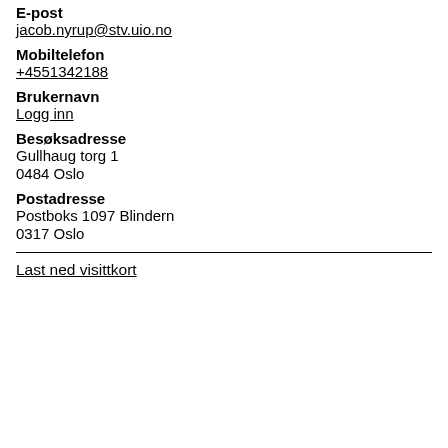E-post
jacob.nyrup@stv.uio.no
Mobiltelefon
+4551342188
Brukernavn
Logg inn
Besøksadresse
Gullhaug torg 1
0484 Oslo
Postadresse
Postboks 1097 Blindern
0317 Oslo
Last ned visittkort